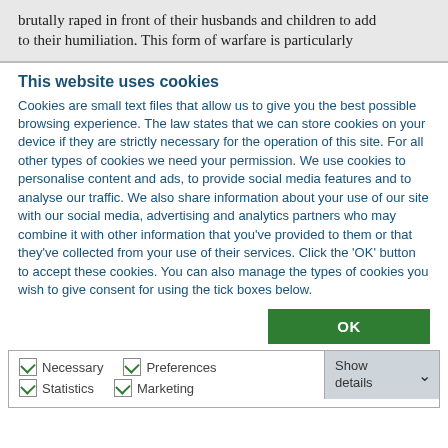brutally raped in front of their husbands and children to add to their humiliation. This form of warfare is particularly
This website uses cookies
Cookies are small text files that allow us to give you the best possible browsing experience. The law states that we can store cookies on your device if they are strictly necessary for the operation of this site. For all other types of cookies we need your permission. We use cookies to personalise content and ads, to provide social media features and to analyse our traffic. We also share information about your use of our site with our social media, advertising and analytics partners who may combine it with other information that you've provided to them or that they've collected from your use of their services. Click the 'OK' button to accept these cookies. You can also manage the types of cookies you wish to give consent for using the tick boxes below.
OK
Necessary  Preferences  Statistics  Marketing  Show details